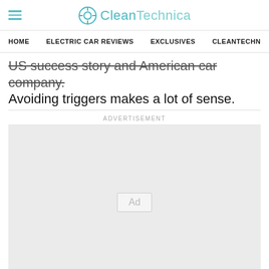CleanTechnica
HOME   ELECTRIC CAR REVIEWS   EXCLUSIVES   CLEANTECHN
US success story and American car company. Avoiding triggers makes a lot of sense.
ADVERTISEMENT
[Figure (other): Advertisement placeholder box with 'Ad' label]